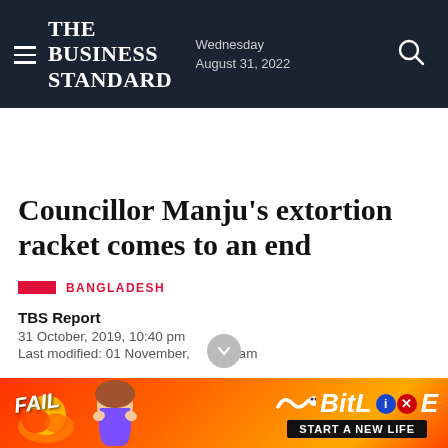The Business Standard — Wednesday August 31, 2022
Councillor Manju's extortion racket comes to an end
BANGLADESH
TBS Report
31 October, 2019, 10:40 pm
Last modified: 01 November, 9:11 am
[Figure (other): Advertisement banner for BitLife mobile game featuring fail text and start a new life slogan]